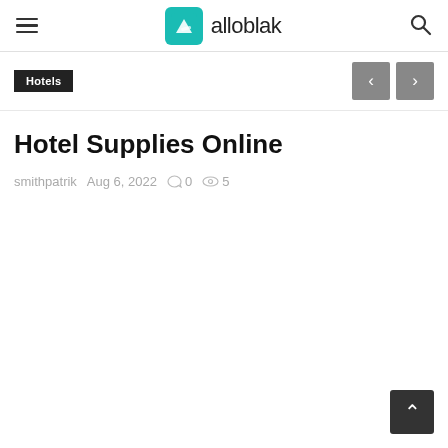alloblak
Hotels
Hotel Supplies Online
smithpatrik  Aug 6, 2022  💬 0  👁 5